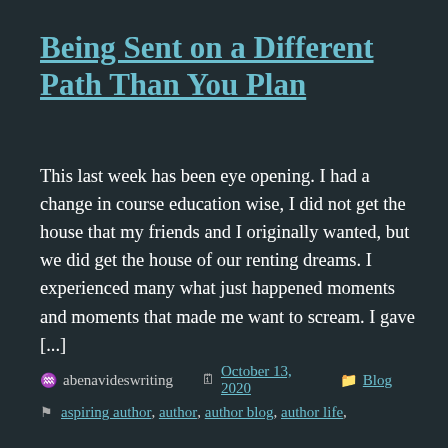Being Sent on a Different Path Than You Plan
This last week has been eye opening. I had a change in course education wise, I did not get the house that my friends and I originally wanted, but we did get the house of our renting dreams. I experienced many what just happened moments and moments that made me want to scream. I gave [...]
abenavideswriting  October 13, 2020  Blog
aspiring author, author, author blog, author life,